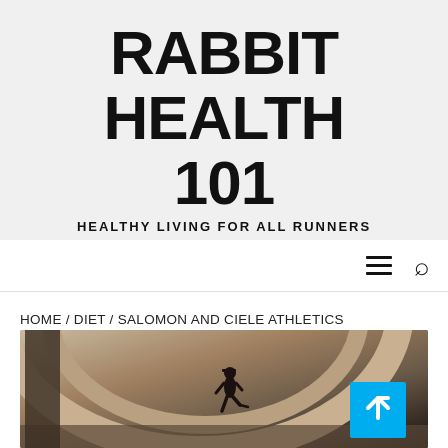RABBIT HEALTH 101
HEALTHY LIVING FOR ALL RUNNERS
[Figure (screenshot): Navigation bar with hamburger menu icon and search icon]
HOME / DIET / SALOMON AND CIELE ATHLETICS COLLABORATE | SHOP-EAT-SURF – SHOP-EAT-SURF.COM
[Figure (photo): A runner in black outfit and cap running through a modern architectural space with curved concrete walls and beige tones. A blue back-to-top button is overlaid in the bottom right corner.]